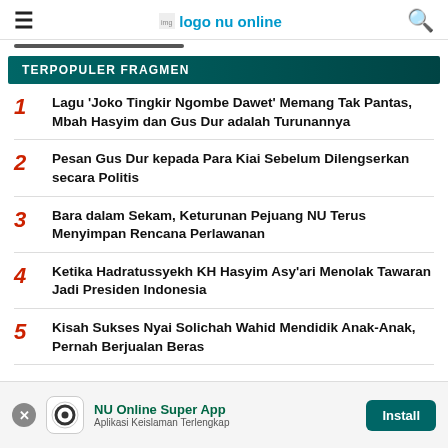≡  logo nu online  🔍
TERPOPULER FRAGMEN
1  Lagu 'Joko Tingkir Ngombe Dawet' Memang Tak Pantas, Mbah Hasyim dan Gus Dur adalah Turunannya
2  Pesan Gus Dur kepada Para Kiai Sebelum Dilengserkan secara Politis
3  Bara dalam Sekam, Keturunan Pejuang NU Terus Menyimpan Rencana Perlawanan
4  Ketika Hadratussyekh KH Hasyim Asy'ari Menolak Tawaran Jadi Presiden Indonesia
5  Kisah Sukses Nyai Solichah Wahid Mendidik Anak-Anak, Pernah Berjualan Beras
[Figure (logo): NU Online Super App banner with install button and app icon]